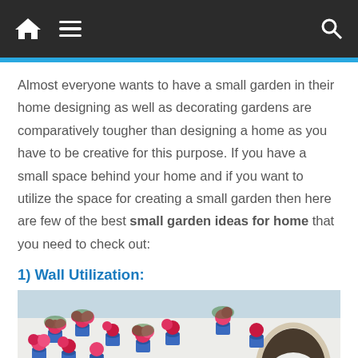Navigation bar with home, menu, and search icons
Almost everyone wants to have a small garden in their home designing as well as decorating gardens are comparatively tougher than designing a home as you have to be creative for this purpose. If you have a small space behind your home and if you want to utilize the space for creating a small garden then here are few of the best small garden ideas for home that you need to check out:
1) Wall Utilization:
[Figure (photo): A white wall decorated with numerous blue flower pots filled with pink and red flowers, with an arched doorway on the right side]